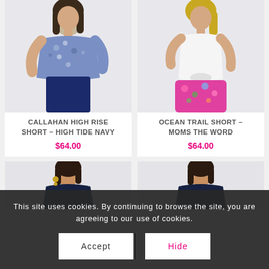[Figure (photo): Woman wearing a blue floral print top with navy pants]
[Figure (photo): Woman wearing a white tank top tied at waist with pink floral shorts]
CALLAHAN HIGH RISE SHORT – HIGH TIDE NAVY
$64.00
OCEAN TRAIL SHORT – MOMS THE WORD
$64.00
[Figure (photo): Woman in dark navy top, smiling]
[Figure (photo): Woman in dark navy top, smiling]
This site uses cookies. By continuing to browse the site, you are agreeing to our use of cookies.